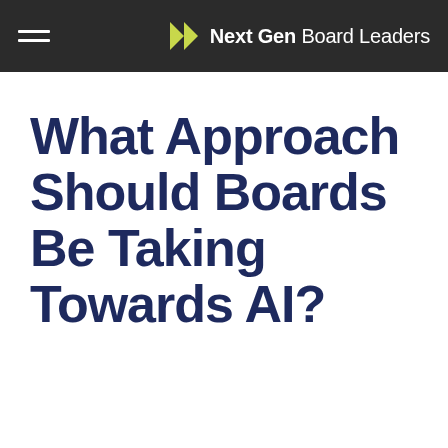Next Gen Board Leaders
What Approach Should Boards Be Taking Towards AI?